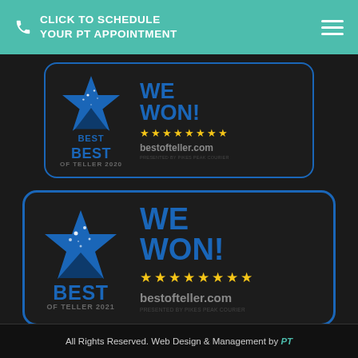CLICK TO SCHEDULE YOUR PT APPOINTMENT
[Figure (logo): Best of Teller 2020 award badge with blue star logo and 'WE WON!' text, gold stars, and bestofteller.com]
[Figure (logo): Best of Teller 2021 award badge with blue star logo and 'WE WON!' text, gold stars, and bestofteller.com]
All Rights Reserved. Web Design & Management by PT